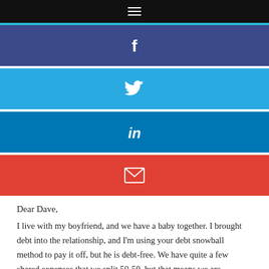≡
[Figure (other): Facebook share button (blue-purple background with white 'f' icon)]
[Figure (other): Twitter share button (light blue background with white bird icon)]
[Figure (other): LinkedIn share button (dark blue background with white 'in' icon)]
[Figure (other): Email share button (red background with white envelope icon)]
Dear Dave,
I live with my boyfriend, and we have a baby together. I brought debt into the relationship, and I'm using your debt snowball method to pay it off, but he is debt-free. We have quite a few shared expenses that we split 50-50, but that means we are constantly reimbursing each other. Should we keep our finances separate until I pay off my